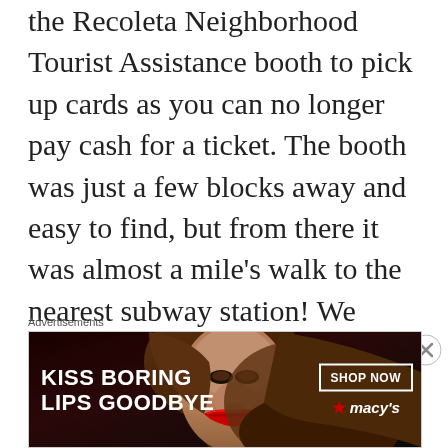the Recoleta Neighborhood Tourist Assistance booth to pick up cards as you can no longer pay cash for a ticket. The booth was just a few blocks away and easy to find, but from there it was almost a mile's walk to the nearest subway station! We were able to stop at an ATM along the way though to withdraw some pesos because we wanted to eat pizza for lunch at a highly-rated and affordable restaurant near
Advertisements
[Figure (infographic): Macy's advertisement banner: 'KISS BORING LIPS GOODBYE' with a close-up of a woman's face and red lips, SHOP NOW button, and Macy's star logo]